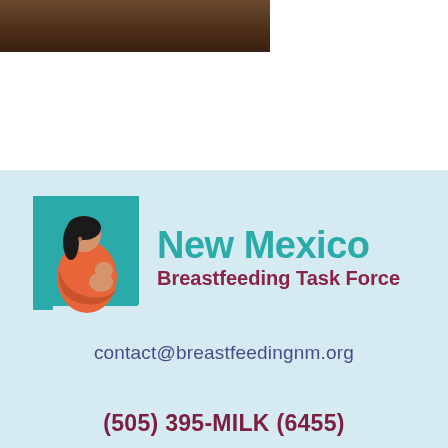[Figure (photo): Partial photo strip at top of page showing a brown/wood-toned surface]
[Figure (logo): New Mexico Breastfeeding Task Force logo: teal square with mother and baby illustration, next to text 'New Mexico' in teal and 'Breastfeeding Task Force' in dark red]
contact@breastfeedingnm.org
(505) 395-MILK (6455)